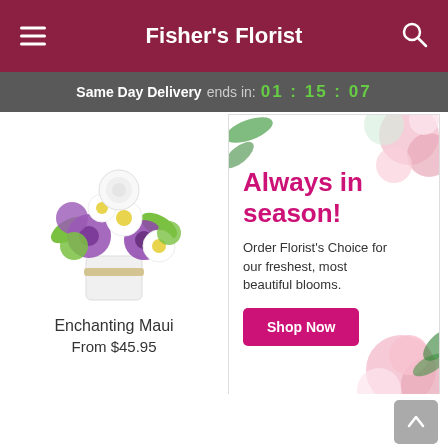Fisher's Florist
Same Day Delivery ends in: 01 : 15 : 07
[Figure (photo): Flower bouquet - Enchanting Maui arrangement with purple, white, and green flowers in a white vase with twine]
Enchanting Maui
From $45.95
[Figure (infographic): Advertisement panel: 'Always in season! Order Florist's Choice for our freshest, most beautiful blooms.' with a Shop Now button and pink flower imagery]